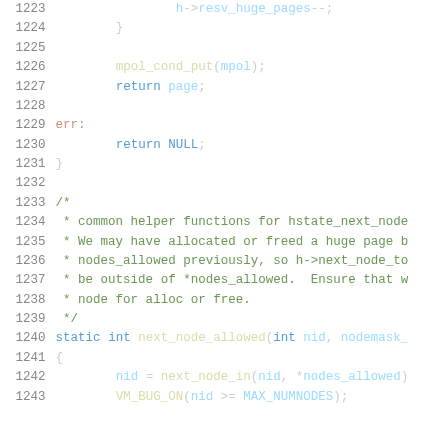Source code listing, lines 1223-1243, C kernel code showing hugepage allocation helpers
1223    h->resv_huge_pages--;
1224    }
1225    (empty)
1226    mpol_cond_put(mpol);
1227    return page;
1228    (empty)
1229    err:
1230    return NULL;
1231    }
1232    (empty)
1233    /*
1234     * common helper functions for hstate_next_node
1235     * We may have allocated or freed a huge page b
1236     * nodes_allowed previously, so h->next_node_to
1237     * be outside of *nodes_allowed.  Ensure that w
1238     * node for alloc or free.
1239     */
1240    static int next_node_allowed(int nid, nodemask_
1241    {
1242    nid = next_node_in(nid, *nodes_allowed)
1243    VM_BUG_ON(nid >= MAX_NUMNODES);